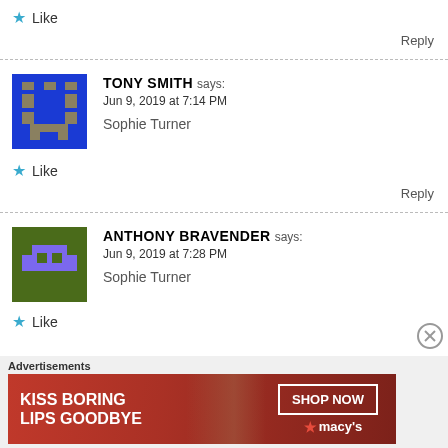★ Like
Reply
[Figure (illustration): Blue pixel-art avatar for Tony Smith]
TONY SMITH says:
Jun 9, 2019 at 7:14 PM

Sophie Turner
★ Like
Reply
[Figure (illustration): Green and purple pixel-art avatar for Anthony Bravender]
ANTHONY BRAVENDER says:
Jun 9, 2019 at 7:28 PM

Sophie Turner
★ Like
Advertisements
[Figure (illustration): Macy's advertisement banner: KISS BORING LIPS GOODBYE with SHOP NOW button and Macy's logo]